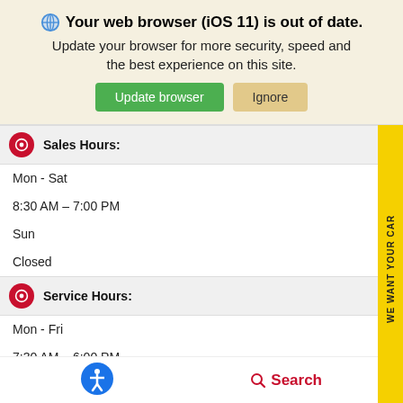[Figure (screenshot): Browser update banner with globe icon, title 'Your web browser (iOS 11) is out of date.', subtitle 'Update your browser for more security, speed and the best experience on this site.', green 'Update browser' button and tan 'Ignore' button]
Sales Hours:
Mon - Sat
8:30 AM – 7:00 PM
Sun
Closed
Service Hours:
Mon - Fri
7:30 AM – 6:00 PM
Sat
8:00 AM – 1:00 PM
Sun
Closed
Parts Hours: